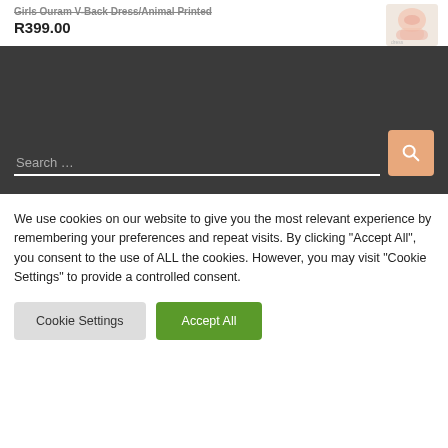Girls Ouram V-Back Dress/Animal Printed
R399.00
[Figure (photo): Small thumbnail image of a pink printed girls dress]
Search …
We use cookies on our website to give you the most relevant experience by remembering your preferences and repeat visits. By clicking "Accept All", you consent to the use of ALL the cookies. However, you may visit "Cookie Settings" to provide a controlled consent.
Cookie Settings
Accept All